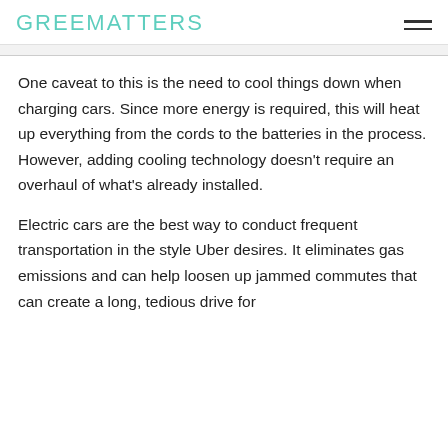GREENMATTERS
One caveat to this is the need to cool things down when charging cars. Since more energy is required, this will heat up everything from the cords to the batteries in the process. However, adding cooling technology doesn't require an overhaul of what's already installed.
Electric cars are the best way to conduct frequent transportation in the style Uber desires. It eliminates gas emissions and can help loosen up jammed commutes that can create a long, tedious drive for